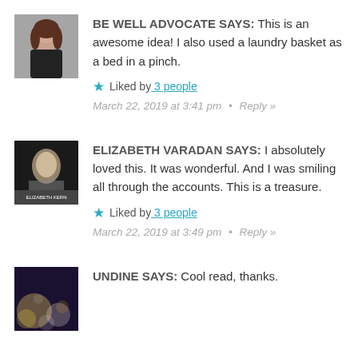BE WELL ADVOCATE SAYS: This is an awesome idea! I also used a laundry basket as a bed in a pinch.
Liked by 3 people
March 22, 2019 at 3:41 pm · Reply »
ELIZABETH VARADAN SAYS: I absolutely loved this. It was wonderful. And I was smiling all through the accounts. This is a treasure.
Liked by 3 people
March 22, 2019 at 3:49 pm · Reply »
UNDINE SAYS: Cool read, thanks.